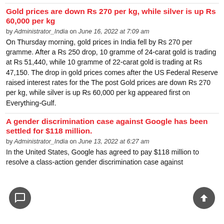Gold prices are down Rs 270 per kg, while silver is up Rs 60,000 per kg
by Administrator_India on June 16, 2022 at 7:09 am
On Thursday morning, gold prices in India fell by Rs 270 per gramme. After a Rs 250 drop, 10 gramme of 24-carat gold is trading at Rs 51,440, while 10 gramme of 22-carat gold is trading at Rs 47,150. The drop in gold prices comes after the US Federal Reserve raised interest rates for the The post Gold prices are down Rs 270 per kg, while silver is up Rs 60,000 per kg appeared first on Everything-Gulf.
A gender discrimination case against Google has been settled for $118 million.
by Administrator_India on June 13, 2022 at 6:27 am
In the United States, Google has agreed to pay $118 million to resolve a class-action gender discrimination case against